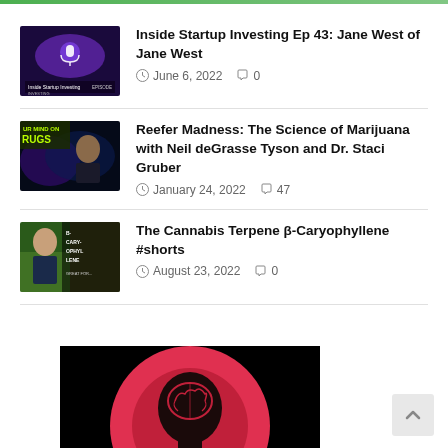Inside Startup Investing Ep 43: Jane West of Jane West — June 6, 2022  0
Reefer Madness: The Science of Marijuana with Neil deGrasse Tyson and Dr. Staci Gruber — January 24, 2022  47
The Cannabis Terpene β-Caryophyllene #shorts — August 23, 2022  0
[Figure (screenshot): A dark image showing a brain silhouette in red/pink on a black background, partially visible at the bottom of the page]